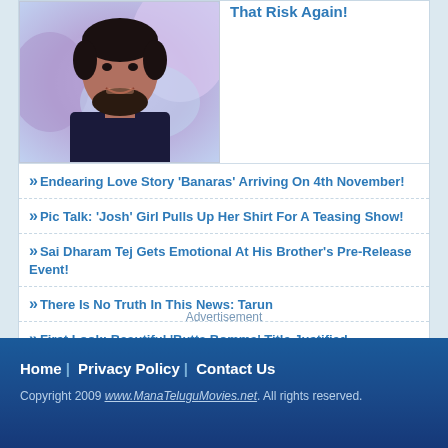[Figure (photo): Photo of a man with beard smiling, wearing a black shirt, colorful blurred background]
That Risk Again!
» Endearing Love Story 'Banaras' Arriving On 4th November!
» Pic Talk: 'Josh' Girl Pulls Up Her Shirt For A Teasing Show!
» Sai Dharam Tej Gets Emotional At His Brother's Pre-Release Event!
» There Is No Truth In This News: Tarun
» First Look: Beautiful 'Butta Bomma' Title Justified Completely!
Advertisement
Advertisement
Home | Privacy Policy | Contact Us
Copyright 2009 www.ManaTeluguMovies.net. All rights reserved.